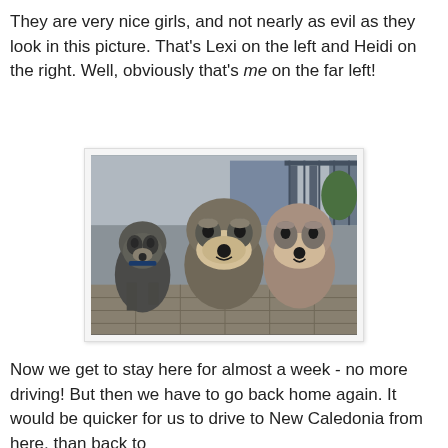They are very nice girls, and not nearly as evil as they look in this picture. That's Lexi on the left and Heidi on the right. Well, obviously that's me on the far left!
[Figure (photo): Three miniature schnauzers sitting close together, looking at the camera. The dogs are on a tiled outdoor patio with a building visible in the background.]
Now we get to stay here for almost a week - no more driving! But then we have to go back home again. It would be quicker for us to drive to New Caledonia from here, than back to